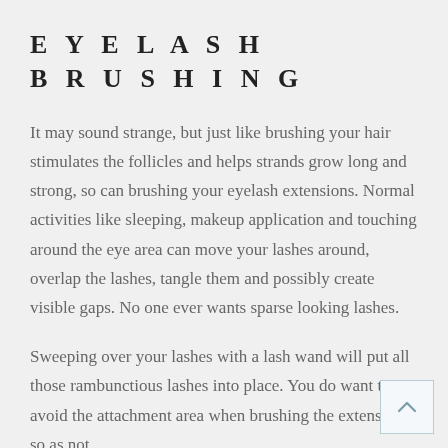EYELASH BRUSHING
It may sound strange, but just like brushing your hair stimulates the follicles and helps strands grow long and strong, so can brushing your eyelash extensions. Normal activities like sleeping, makeup application and touching around the eye area can move your lashes around, overlap the lashes, tangle them and possibly create visible gaps. No one ever wants sparse looking lashes.
Sweeping over your lashes with a lash wand will put all those rambunctious lashes into place. You do want to avoid the attachment area when brushing the extensions so as not